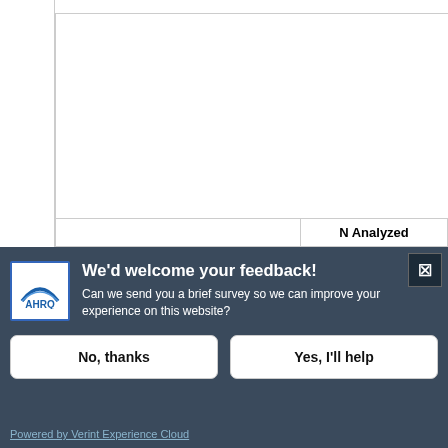[Figure (screenshot): Partial view of a background page showing a table with headers 'N Analyzed', 'Mean', 'SD' and a row cell '9 (months)']
[Figure (screenshot): AHRQ website feedback survey modal dialog. Title: 'We'd welcome your feedback!' with subtitle 'Can we send you a brief survey so we can improve your experience on this website?' Two buttons: 'No, thanks' and 'Yes, I'll help'. Footer: 'Powered by Verint Experience Cloud'. Close button (X) in top right. AHRQ logo in top left of modal.]